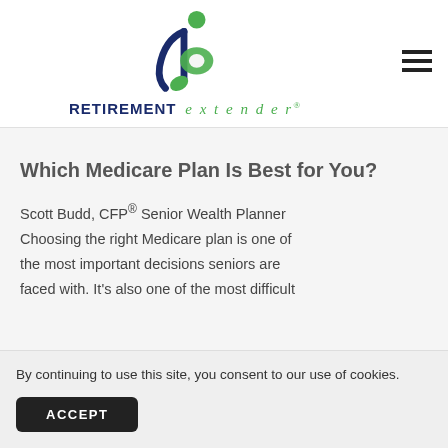[Figure (logo): Retirement Extender logo with stylized 're' letters in blue and green, with a green circular figure on top]
Which Medicare Plan Is Best for You?
Scott Budd, CFP® Senior Wealth Planner Choosing the right Medicare plan is one of the most important decisions seniors are faced with. It's also one of the most difficult
By continuing to use this site, you consent to our use of cookies.
ACCEPT